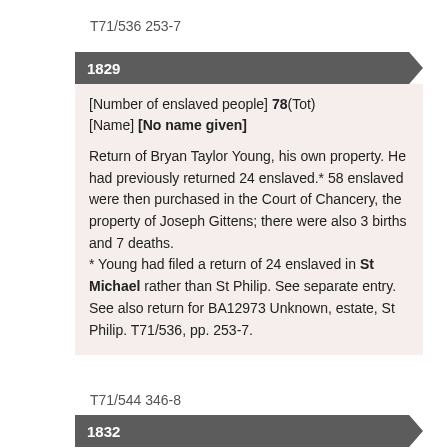T71/536 253-7
1829
[Number of enslaved people] 78(Tot)
[Name] [No name given]
Return of Bryan Taylor Young, his own property. He had previously returned 24 enslaved.* 58 enslaved were then purchased in the Court of Chancery, the property of Joseph Gittens; there were also 3 births and 7 deaths.
* Young had filed a return of 24 enslaved in St Michael rather than St Philip. See separate entry. See also return for BA12973 Unknown, estate, St Philip. T71/536, pp. 253-7.
T71/544 346-8
1832